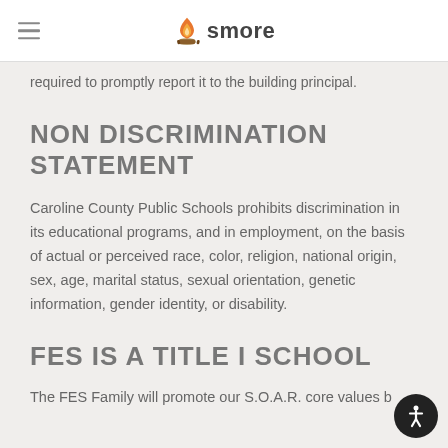smore
required to promptly report it to the building principal.
NON DISCRIMINATION STATEMENT
Caroline County Public Schools prohibits discrimination in its educational programs, and in employment, on the basis of actual or perceived race, color, religion, national origin, sex, age, marital status, sexual orientation, genetic information, gender identity, or disability.
FES IS A TITLE I SCHOOL
The FES Family will promote our S.O.A.R. core values b...